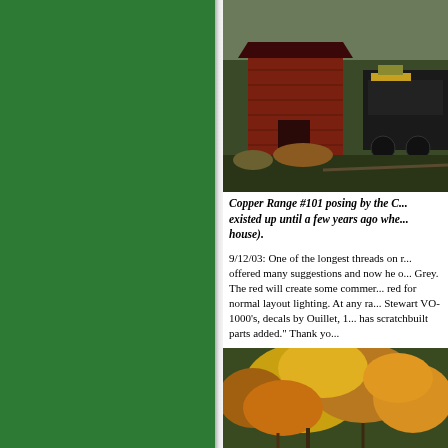[Figure (photo): Photograph of a red shed/building with a locomotive or train car visible, outdoor scene with natural background.]
Copper Range #101 posing by the C... existed up until a few years ago whe... house).
9/12/03: One of the longest threads on r... offered many suggestions and now he o... Grey. The red will create some commer... red for normal layout lighting. At any ra... Stewart VO-1000's, decals by Ouillet, 1... has scratchbuilt parts added." Thank yo...
[Figure (photo): Close-up photograph showing autumn foliage and trees with fall colors of yellow, orange, and red, with a red model train or locomotive partially visible at the bottom.]